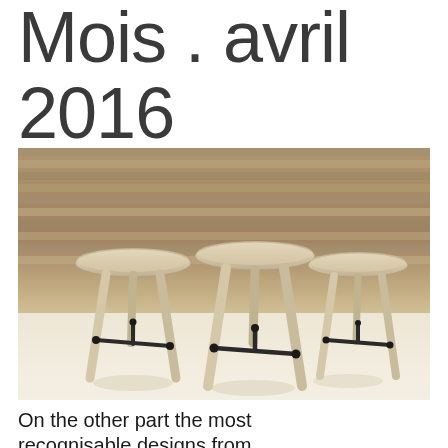Mois . avril 2016
[Figure (photo): Three wooden bar stools with light birch/ash wood seats and legs, connected by black metal cross-bar footrests, displayed in front of a slatted wooden wall backdrop on a white floor.]
On the other part the most recognisable designs from Mobles 114 can be enjoyed and/or